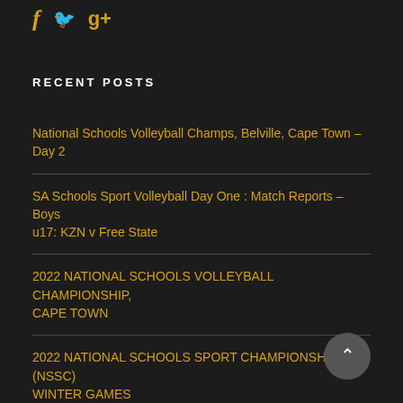[Figure (logo): Social media icons: Facebook (f), Twitter (bird), Google+ (g+) in gold/amber color on dark background]
RECENT POSTS
National Schools Volleyball Champs, Belville, Cape Town – Day 2
SA Schools Sport Volleyball Day One : Match Reports – Boys u17: KZN v Free State
2022 NATIONAL SCHOOLS VOLLEYBALL CHAMPIONSHIP, CAPE TOWN
2022 NATIONAL SCHOOLS SPORT CHAMPIONSHIP (NSSC) WINTER GAMES